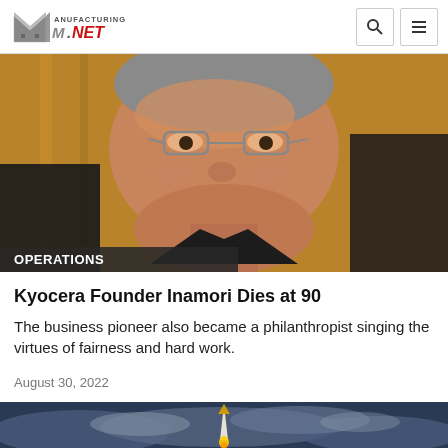Manufacturing.NET
[Figure (photo): Close-up photo of an elderly Asian man wearing glasses and a dark suit, with a serious expression]
OPERATIONS
Kyocera Founder Inamori Dies at 90
The business pioneer also became a philanthropist singing the virtues of fairness and hard work.
August 30, 2022
[Figure (photo): Photo of a rocket or missile launching into a cloudy dark blue sky]